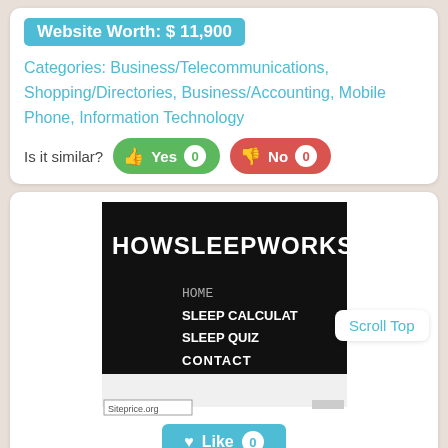Website Worth: $ 11,900
Categories: Business/Telecommunications, Shopping/Directories, Business/Accounting, Mobile Phone, Information Technology
Is it similar? Yes 0  No 0
[Figure (screenshot): Screenshot of HOWSLEEPWORKS website showing black header with site name, navigation menu items: HOME, SLEEP CALCULATOR, SLEEP QUIZ, CONTACT, and a 'Scroll Top' tooltip bubble. Siteprice.org watermark visible.]
Like 0